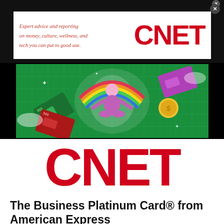[Figure (logo): CNET advertisement banner with serif italic text 'Expert advice and reporting on money, culture, wellness, and tech you can put to good use.' alongside CNET logo in red bold sans-serif]
[Figure (illustration): Colorful illustration showing a figure meditating surrounded by floating credit cards, money, a coin, and colorful abstract elements on a green grid background]
[Figure (logo): Large red CNET logo in bold sans-serif]
The Business Platinum Card® from American Express
Best for high-spending business owners
See Rates and Fees | Terms Apply
[Figure (photo): Bottom-cropped image of the Business Platinum Card from American Express — a silver metallic card showing AMERICAN EXPRESS BUSINESS branding]